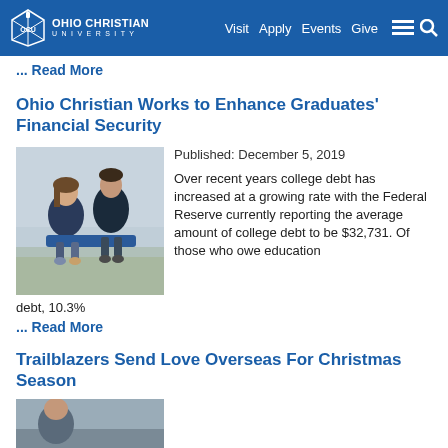Ohio Christian University — Visit Apply Events Give
... Read More
Ohio Christian Works to Enhance Graduates' Financial Security
Published: December 5, 2019
[Figure (photo): Two students sitting outdoors on blue seats, talking]
Over recent years college debt has increased at a growing rate with the Federal Reserve currently reporting the average amount of college debt to be $32,731. Of those who owe education debt, 10.3%
... Read More
Trailblazers Send Love Overseas For Christmas Season
[Figure (photo): Partial image of another article photo at bottom of page]